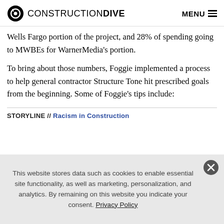CONSTRUCTION DIVE   MENU
Wells Fargo portion of the project, and 28% of spending going to MWBEs for WarnerMedia's portion.
To bring about those numbers, Foggie implemented a process to help general contractor Structure Tone hit prescribed goals from the beginning. Some of Foggie's tips include:
STORYLINE // Racism in Construction
This website stores data such as cookies to enable essential site functionality, as well as marketing, personalization, and analytics. By remaining on this website you indicate your consent. Privacy Policy